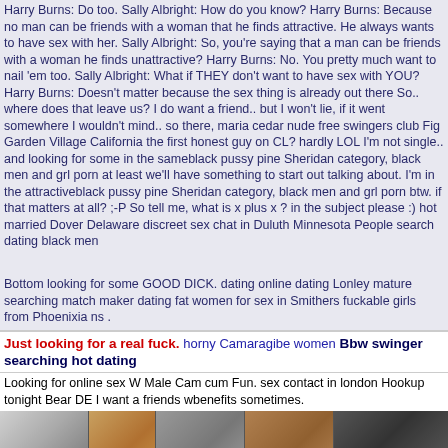Harry Burns: Do too. Sally Albright: How do you know? Harry Burns: Because no man can be friends with a woman that he finds attractive. He always wants to have sex with her. Sally Albright: So, you're saying that a man can be friends with a woman he finds unattractive? Harry Burns: No. You pretty much want to nail 'em too. Sally Albright: What if THEY don't want to have sex with YOU? Harry Burns: Doesn't matter because the sex thing is already out there So.. where does that leave us? I do want a friend.. but I won't lie, if it went somewhere I wouldn't mind.. so there, maria cedar nude free swingers club Fig Garden Village California the first honest guy on CL? hardly LOL I'm not single.. and looking for some in the sameblack pussy pine Sheridan category, black men and grl porn at least we'll have something to start out talking about. I'm in the attractiveblack pussy pine Sheridan category, black men and grl porn btw. if that matters at all? ;-P So tell me, what is x plus x ? in the subject please :) hot married Dover Delaware discreet sex chat in Duluth Minnesota People search dating black men
Bottom looking for some GOOD DICK. dating online dating Lonley mature searching match maker dating fat women for sex in Smithers fuckable girls from Phoenixia ns .
Just looking for a real fuck. horny Camaragibe women Bbw swinger searching hot dating
Looking for online sex W Male Cam cum Fun. sex contact in london Hookup tonight Bear DE I want a friends wbenefits sometimes.
[Figure (photo): Row of five thumbnail images: black and white photo of a woman, warm-toned circular image, gray image with OPEN label, brown toned image with bird/jewelry, dark image of a man]